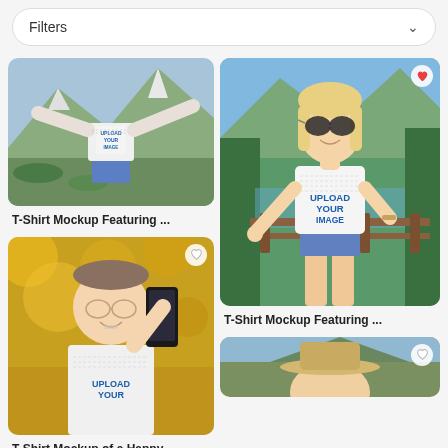Filters
[Figure (screenshot): T-shirt mockup photo of person with arms spread on a mountain background, white t-shirt with upload your image placeholder]
T-Shirt Mockup Featuring ...
[Figure (screenshot): T-shirt mockup of a happy young person taking a selfie with autumn bokeh background, white t-shirt with upload your image placeholder]
T-Shirt Mockup of a Happy ...
[Figure (screenshot): T-shirt mockup of a blonde woman with sunglasses leaning on a wooden fence with mountains and river background, white t-shirt with upload your image text]
T-Shirt Mockup Featuring ...
[Figure (screenshot): Partial view of person wearing a hat in a mountain setting, t-shirt mockup]